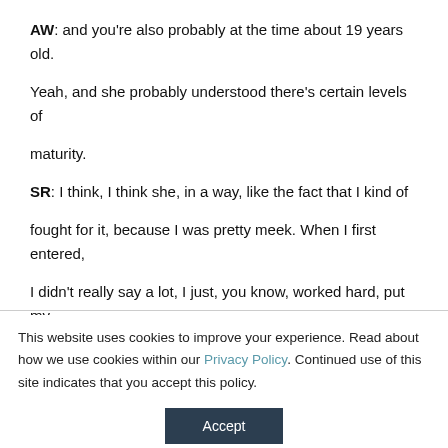AW: and you're also probably at the time about 19 years old. Yeah, and she probably understood there's certain levels of maturity.
SR: I think, I think she, in a way, like the fact that I kind of fought for it, because I was pretty meek. When I first entered, I didn't really say a lot, I just, you know, worked hard, put my head down. And it's rare, I think, to have athletes actually
This website uses cookies to improve your experience. Read about how we use cookies within our Privacy Policy. Continued use of this site indicates that you accept this policy.
Accept